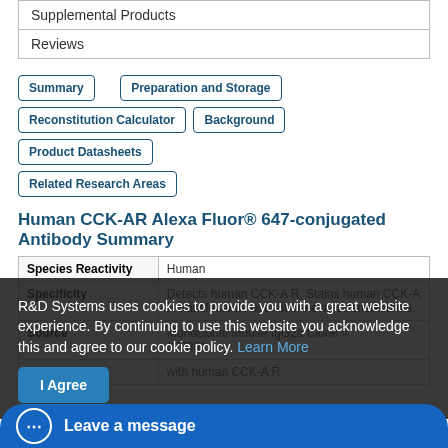| Supplemental Products |
| Reviews |
Summary
Preparation and Storage
Reconstitution Calculator
Background
Product Datasheets
Related Research Areas
Human CCK-AR Alexa Fluor® 647-conjugated Antibody Summary
|  |  |
| --- | --- |
| Species Reactivity | Human |
| Specificity | Detects human CCK-A R. Stains human CCK-A R transfectants but not irrelevant transfectants. |
| Source | Monoclonal Mouse IgG2a Clone # 377351 |
|  | with human CCK-A R |
R&D Systems uses cookies to provide you with a great website experience. By continuing to use this website you acknowledge this and agree to our cookie policy. Learn More
I Agree
Leave a message